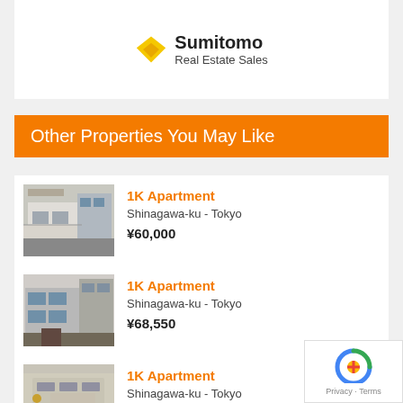[Figure (logo): Sumitomo Real Estate Sales logo with yellow diamond shape and text]
Other Properties You May Like
1K Apartment
Shinagawa-ku - Tokyo
¥60,000
1K Apartment
Shinagawa-ku - Tokyo
¥68,550
1K Apartment
Shinagawa-ku - Tokyo
¥69,000
1K Apartment